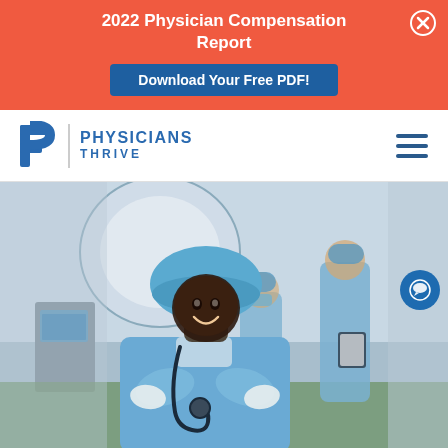2022 Physician Compensation Report
Download Your Free PDF!
[Figure (logo): Physicians Thrive logo with stylized P icon and company name]
[Figure (photo): Female physician in blue scrubs and surgical cap with stethoscope, arms crossed, smiling in operating room with medical team in background]